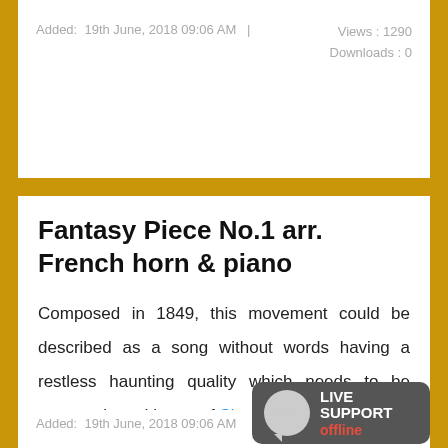Added:  19th June, 2018 09:06 AM  |   Views : 1290
Downloads : 0
Fantasy Piece No.1 arr. French horn & piano
Composed in 1849, this movement could be described as a song without words having a restless haunting quality which needs to be communicated in a perf Show More...
Added:  19th June, 2018 09:06 AM